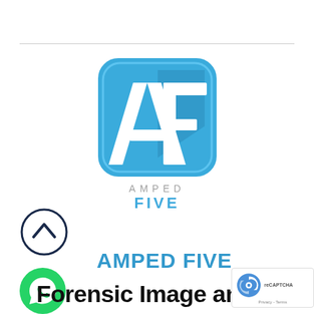[Figure (logo): Amped FIVE logo — blue rounded square with white AF letters, with 'AMPED' in gray and 'FIVE' in blue text below]
AMPED FIVE
Forensic Image and Video
[Figure (other): Scroll-up navigation button — dark navy circle with caret/chevron pointing up]
[Figure (other): WhatsApp contact button — green circle with white chat bubble icon]
[Figure (other): reCAPTCHA badge — Privacy · Terms]